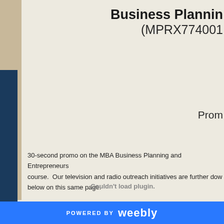Business Planning (MPRX774001
Prom
30-second promo on the MBA Business Planning and Entrepreneurs course.  Our television and radio outreach initiatives are further dow below on this same page.
Couldn't load plugin.
POWERED BY weebly